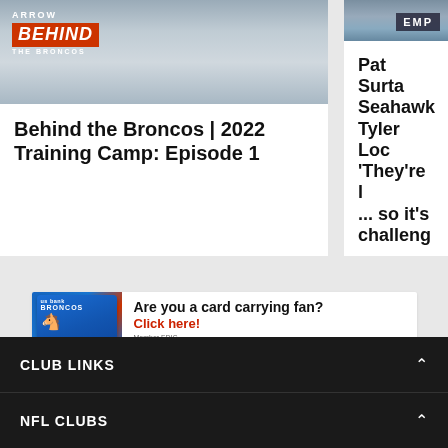[Figure (photo): Screenshot thumbnail of 'Behind the Broncos' video with Arrow Electronics branding, showing person in car]
Behind the Broncos | 2022 Training Camp: Episode 1
[Figure (photo): Partially visible thumbnail showing person with EMP text overlay]
Pat Surta Seahawk Tyler Loc 'They're l ... so it's challeng
[Figure (infographic): US Bank Broncos Visa card advertisement banner. Text: Are you a card carrying fan? Click here! Member FDIC]
Are you a card carrying fan? Click here! Member FDIC
CLUB LINKS
NFL CLUBS